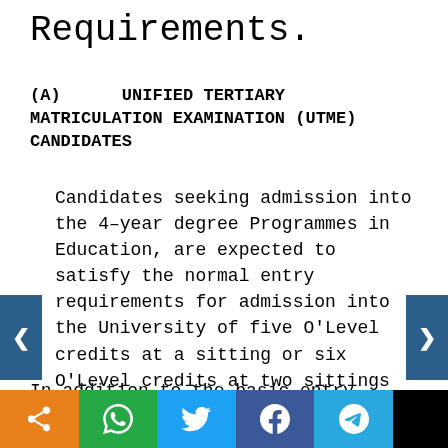Requirements.
(A)   UNIFIED TERTIARY MATRICULATION EXAMINATION (UTME) CANDIDATES
Candidates seeking admission into the 4–year degree Programmes in Education, are expected to satisfy the normal entry requirements for admission into the University of five O'Level credits at a sitting or six O'Level credits at two sittings in relevant subjects including English Language and Mathematics.
In addition to the basic entry requirement,